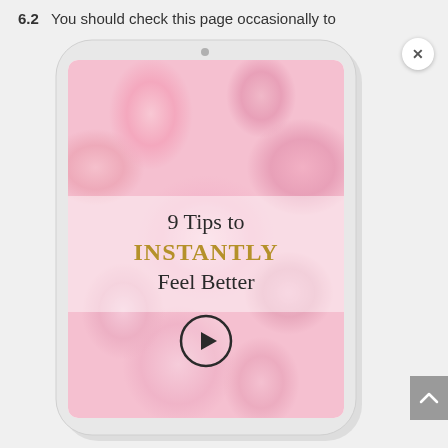6.2   You should check this page occasionally to
[Figure (screenshot): A smartphone mockup displayed upright showing a video thumbnail for '9 Tips to INSTANTLY Feel Better', featuring a pink floral background with a play button overlay. A close (×) button appears in the top-right corner. A scroll-up arrow button is on the right edge.]